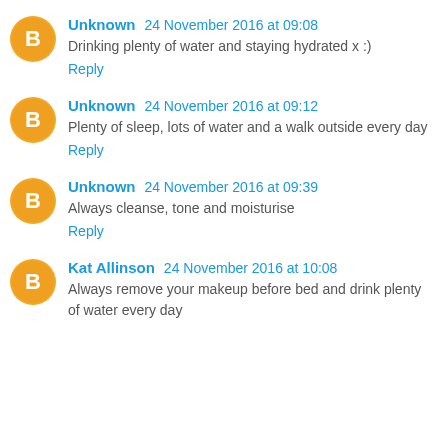Unknown 24 November 2016 at 09:08 — Drinking plenty of water and staying hydrated x :) — Reply
Unknown 24 November 2016 at 09:12 — Plenty of sleep, lots of water and a walk outside every day — Reply
Unknown 24 November 2016 at 09:39 — Always cleanse, tone and moisturise — Reply
Kat Allinson 24 November 2016 at 10:08 — Always remove your makeup before bed and drink plenty of water every day